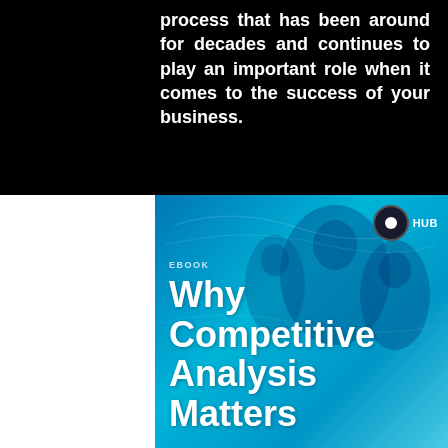process that has been around for decades and continues to play an important role when it comes to the success of your business.
[Figure (illustration): Book cover image with blue background showing silhouettes of people. Badge with circle icon and 'HUB' text in top right. Small label text at left, followed by large white bold title text reading 'Why Competitive Analysis Matters'.]